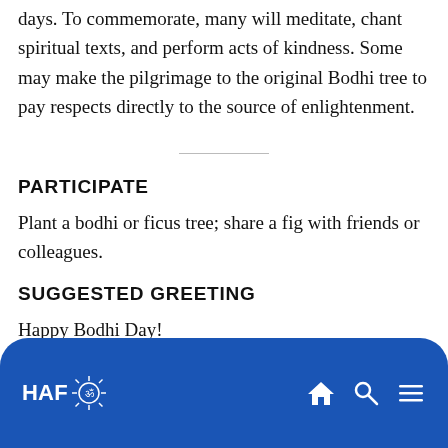days. To commemorate, many will meditate, chant spiritual texts, and perform acts of kindness. Some may make the pilgrimage to the original Bodhi tree to pay respects directly to the source of enlightenment.
PARTICIPATE
Plant a bodhi or ficus tree; share a fig with friends or colleagues.
SUGGESTED GREETING
Happy Bodhi Day!
HAF ॐ [logo with navigation icons: home, search, menu]